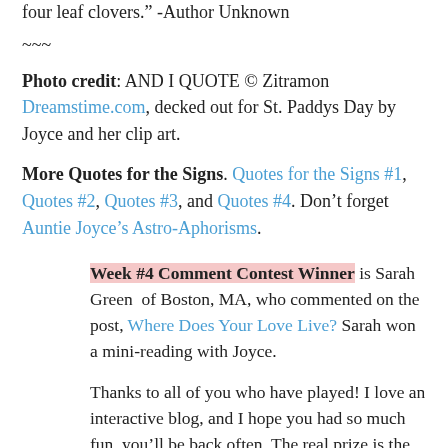four leaf clovers." -Author Unknown
~~~
Photo credit: AND I QUOTE © Zitramon Dreamstime.com, decked out for St. Paddys Day by Joyce and her clip art.
More Quotes for the Signs. Quotes for the Signs #1, Quotes #2, Quotes #3, and Quotes #4. Don't forget Auntie Joyce's Astro-Aphorisms.
Week #4 Comment Contest Winner is Sarah Green of Boston, MA, who commented on the post, Where Does Your Love Live? Sarah won a mini-reading with Joyce.
Thanks to all of you who have played! I love an interactive blog, and I hope you had so much fun, you'll be back often. The real prize is the new people you'll meet, ideas you'll share, and tips